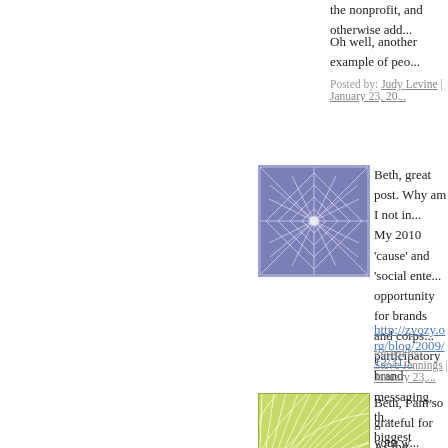the nonprofit, and otherwise add...
Oh well, another example of peo...
Posted by: Judy Levine | January 23, 20...
[Figure (illustration): Blue/purple geometric star pattern avatar icon]
Beth, great post. Why am I not in... My 2010 'cause' and 'social ente... opportunity for brands and corps... participatory brand messaging, th... biggest communication and perco... fail to deliver on the promise and... open minded 'launch and learn' a... 'crowd' will separate the 'winner... have tattooed onto their forearm ... boatload!
http://zyozy.org/blog/2009/12/31...
Posted by: Steve Jennings | January 23,...
[Figure (illustration): Green geometric leaf/fan pattern avatar icon]
Beth, I am so grateful for your w... discussed.
As the steward of social media m... also a prior one that was similar,... nonprofits to solicit vote commer... the results turned out to be so sh...